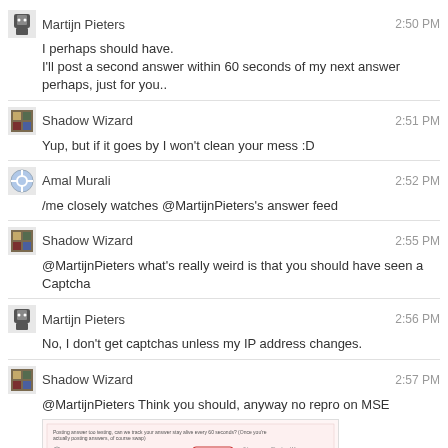Martijn Pieters 2:50 PM
I perhaps should have.
I'll post a second answer within 60 seconds of my next answer perhaps, just for you..
Shadow Wizard 2:51 PM
Yup, but if it goes by I won't clean your mess :D
Amal Murali 2:52 PM
/me closely watches @MartijnPieters's answer feed
Shadow Wizard 2:55 PM
@MartijnPieters what's really weird is that you should have seen a Captcha
Martijn Pieters 2:56 PM
No, I don't get captchas unless my IP address changes.
Shadow Wizard 2:57 PM
@MartijnPieters Think you should, anyway no repro on MSE
[screenshot]
Don't want to test on SO, so counting on you to try and reproduce :)